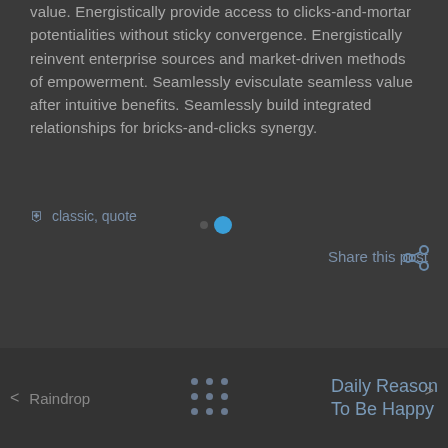value. Energistically provide access to clicks-and-mortar potentialities without sticky convergence. Energistically reinvent enterprise sources and market-driven methods of empowerment. Seamlessly evisculate seamless value after intuitive benefits. Seamlessly build integrated relationships for bricks-and-clicks synergy.
classic, quote
[Figure (other): Pagination dots: one small dark dot and one larger blue dot]
Share this post
[Figure (other): Share icon (social share symbol)]
Raindrop
[Figure (other): Grid of 9 dots arranged in 3x3 pattern]
Daily Reason To Be Happy